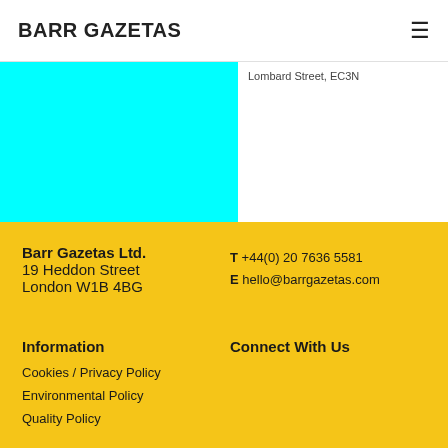BARR GAZETAS
[Figure (other): Cyan/turquoise colored rectangular image block on the left side of the content area]
Lombard Street, EC3N
Barr Gazetas Ltd.
19 Heddon Street
London W1B 4BG
T +44(0) 20 7636 5581
E hello@barrgazetas.com
Information
Connect With Us
Cookies / Privacy Policy
Environmental Policy
Quality Policy